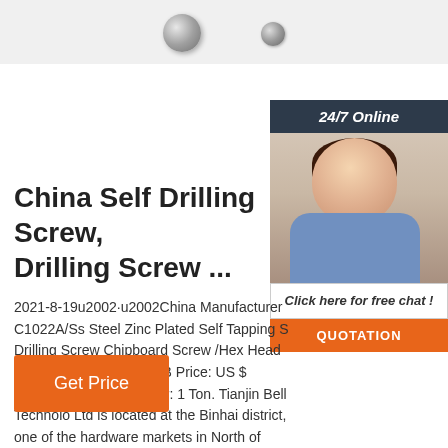[Figure (photo): Product photo showing metallic screws at top of page]
[Figure (photo): 24/7 Online chat agent - woman with headset smiling, with orange QUOTATION button and 'Click here for free chat!' text]
China Self Drilling Screw, Drilling Screw ...
2021-8-19u2002·u2002China Manufacturer C1022A/Ss Steel Zinc Plated Self Tapping S Drilling Screw Chipboard Screw /Hex Head S /Pan Head Screw. FOB Price: US $ 1100.0-1 Ton. Min. Order: 1 Ton. Tianjin Bell Technolo Ltd is located at the Binhai district, one of the hardware markets in North of China.
Get Price